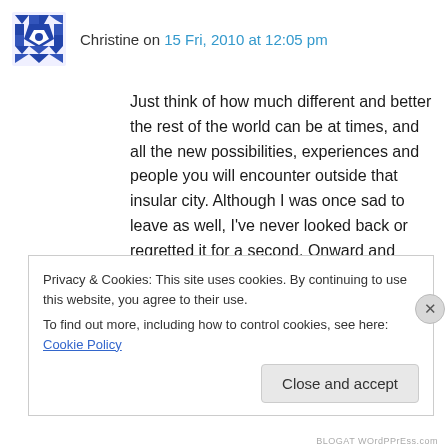Christine on 15 Fri, 2010 at 12:05 pm
Just think of how much different and better the rest of the world can be at times, and all the new possibilities, experiences and people you will encounter outside that insular city. Although I was once sad to leave as well, I've never looked back or regretted it for a second. Onward and upward, as they say. 🙂
↳ Reply
Privacy & Cookies: This site uses cookies. By continuing to use this website, you agree to their use.
To find out more, including how to control cookies, see here: Cookie Policy
Close and accept